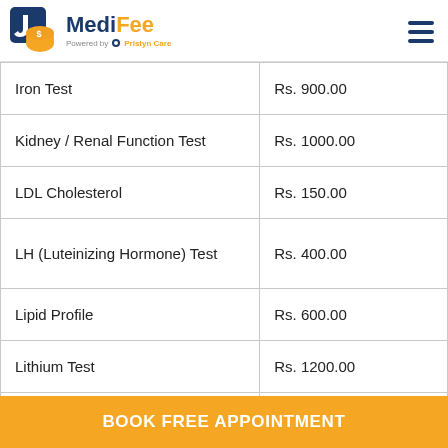[Figure (logo): MediFee logo powered by Pristyn Care]
| Test Name | Price |
| --- | --- |
| Iron Test | Rs. 900.00 |
| Kidney / Renal Function Test | Rs. 1000.00 |
| LDL Cholesterol | Rs. 150.00 |
| LH (Luteinizing Hormone) Test | Rs. 400.00 |
| Lipid Profile | Rs. 600.00 |
| Lithium Test | Rs. 1200.00 |
| Liver Function Test (LFT) | Rs. 500.00 |
| Magnesium Test | Rs. 600.00 |
BOOK FREE APPOINTMENT